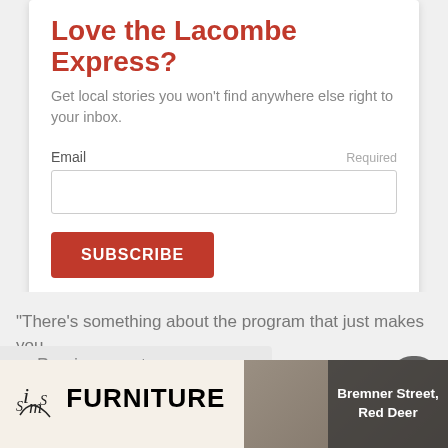Love the Lacombe Express?
Get local stories you won't find anywhere else right to your inbox.
Email  Required
[Figure (screenshot): Email input text field (empty)]
[Figure (screenshot): SUBSCRIBE button in red/orange]
“There’s something about the program that just makes you
[Figure (screenshot): Read More button with chevron dropdown]
[Figure (screenshot): Previous post navigation bar]
[Figure (screenshot): Back to top circular button]
[Figure (screenshot): Sims Furniture advertisement banner with Bremner Street, Red Deer address]